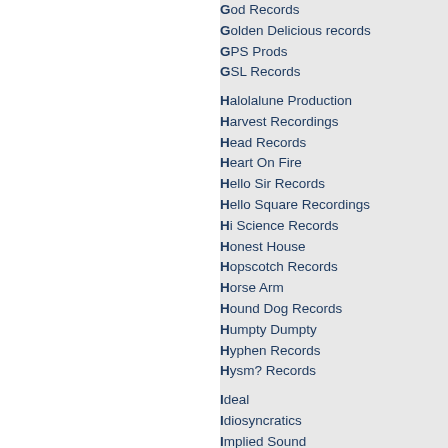God Records
Golden Delicious records
GPS Prods
GSL Records
Halolalune Production
Harvest Recordings
Head Records
Heart On Fire
Hello Sir Records
Hello Square Recordings
Hi Science Records
Honest House
Hopscotch Records
Horse Arm
Hound Dog Records
Humpty Dumpty
Hyphen Records
Hysm? Records
Ideal
Idiosyncratics
Implied Sound
Ini.itu
Interstellar Records
Interzone
Invaders Records
Jambalaya
Jaune Orange Rec.
Jazzcore Inc.